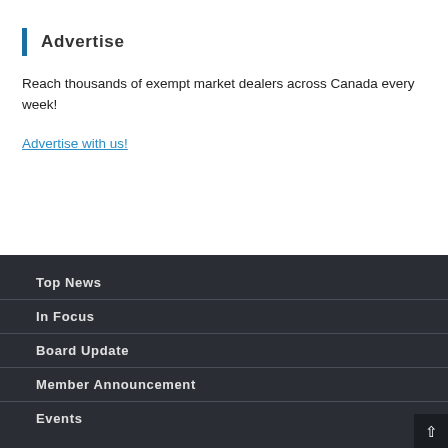Advertise
Reach thousands of exempt market dealers across Canada every week!
Advertise with us!
Top News
In Focus
Board Update
Member Announcement
Events